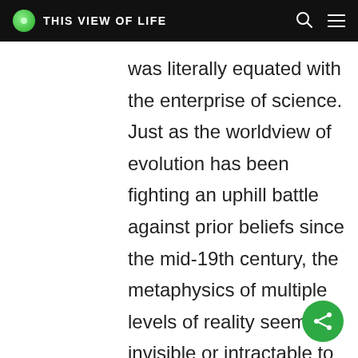THIS VIEW OF LIFE
was literally equated with the enterprise of science. Just as the worldview of evolution has been fighting an uphill battle against prior beliefs since the mid-19th century, the metaphysics of multiple levels of reality seems invisible or intractable to reductionists. To those of